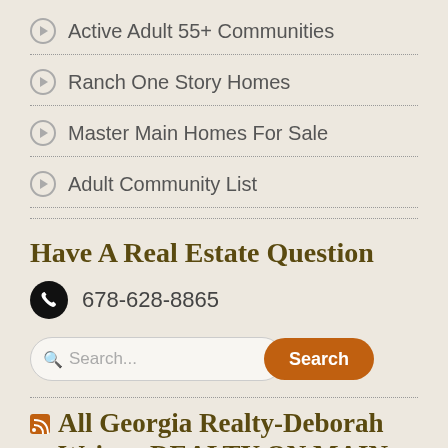Active Adult 55+ Communities
Ranch One Story Homes
Master Main Homes For Sale
Adult Community List
Have A Real Estate Question
678-628-8865
Search...
All Georgia Realty-Deborah Weiner-REALTY ON MAIN
Some Facts About Oakhurst Neighborhood In Decatur GA 04/21/2018